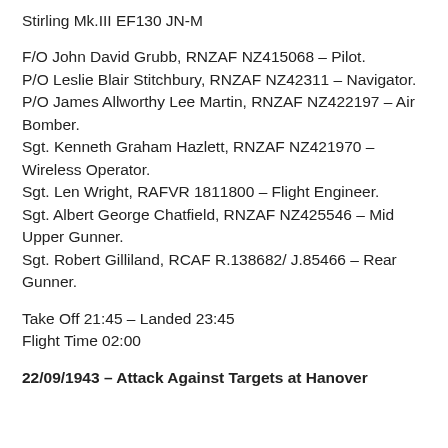Stirling Mk.III EF130 JN-M
F/O John David Grubb, RNZAF NZ415068 – Pilot.
P/O Leslie Blair Stitchbury, RNZAF NZ42311 – Navigator.
P/O James Allworthy Lee Martin, RNZAF NZ422197 – Air Bomber.
Sgt. Kenneth Graham Hazlett, RNZAF NZ421970 – Wireless Operator.
Sgt. Len Wright, RAFVR 1811800 – Flight Engineer.
Sgt. Albert George Chatfield, RNZAF NZ425546 – Mid Upper Gunner.
Sgt. Robert Gilliland, RCAF R.138682/ J.85466 – Rear Gunner.
Take Off 21:45 – Landed 23:45
Flight Time 02:00
22/09/1943 – Attack Against Targets at Hanover